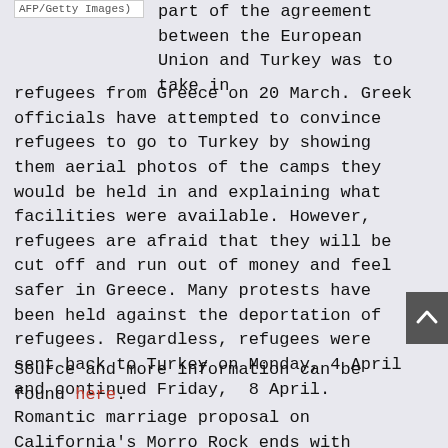AFP/Getty Images)
part of the agreement between the European Union and Turkey was to take in refugees from Greece on 20 March. Greek officials have attempted to convince refugees to go to Turkey by showing them aerial photos of the camps they would be held in and explaining what facilities were available. However, refugees are afraid that they will be cut off and run out of money and feel safer in Greece. Many protests have been held against the deportation of refugees. Regardless, refugees were sent back to Turkey on Monday, 4 April and continued Friday,  8 April.
Source and more information can be found here.
Romantic marriage proposal on California's Morro Rock ends with helicopter rescue.